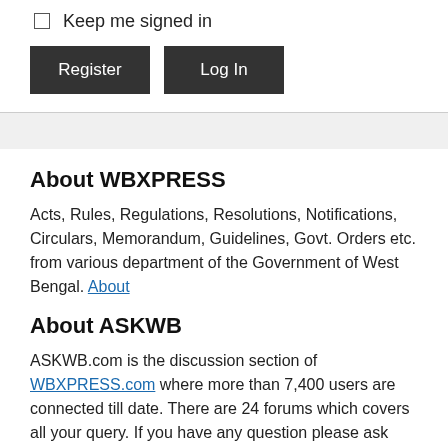Keep me signed in
Register | Log In
About WBXPRESS
Acts, Rules, Regulations, Resolutions, Notifications, Circulars, Memorandum, Guidelines, Govt. Orders etc. from various department of the Government of West Bengal. About
About ASKWB
ASKWB.com is the discussion section of WBXPRESS.com where more than 7,400 users are connected till date. There are 24 forums which covers all your query. If you have any question please ask here in this forum.